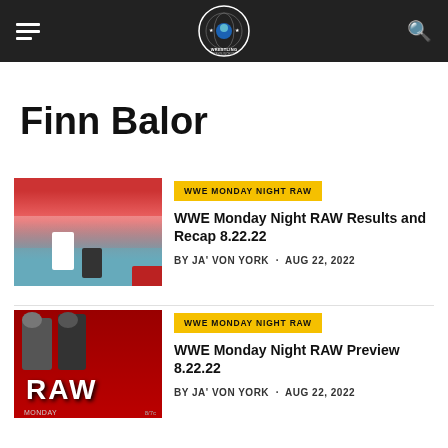Wrestling News World navigation bar
Finn Balor
[Figure (photo): WWE wrestling match photo showing two wrestlers in a ring with crowd in background]
WWE MONDAY NIGHT RAW
WWE Monday Night RAW Results and Recap 8.22.22
BY JA' VON YORK · AUG 22, 2022
[Figure (photo): WWE Monday Night RAW promotional image with two wrestlers on red background with RAW logo]
WWE MONDAY NIGHT RAW
WWE Monday Night RAW Preview 8.22.22
BY JA' VON YORK · AUG 22, 2022